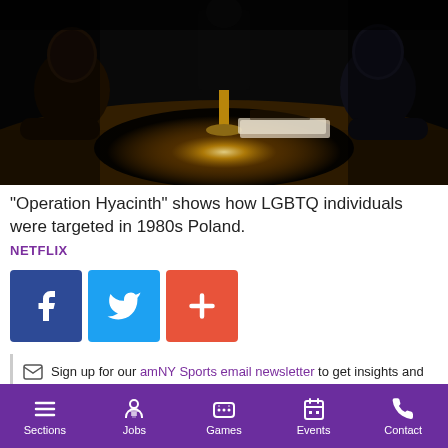[Figure (photo): Two young men sitting across a table under a single lamp in a dark interrogation-like scene from Netflix film Operation Hyacinth]
"Operation Hyacinth" shows how LGBTQ individuals were targeted in 1980s Poland.
NETFLIX
[Figure (infographic): Social sharing buttons: Facebook, Twitter, and Add (+)]
Sign up for our amNY Sports email newsletter to get insights and game coverage for your favorite teams
The availability of a wide range of films on streaming
Sections | Jobs | Games | Events | Contact